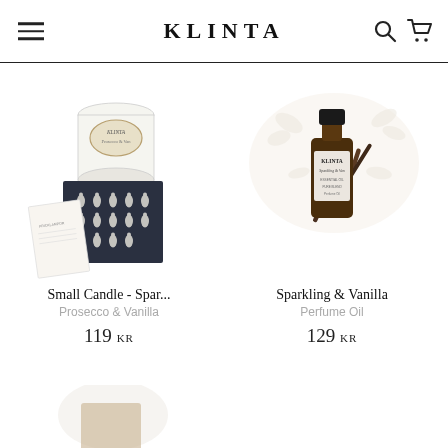KLINTA
[Figure (photo): Product photo of Small Candle - Sparkling Prosecco & Vanilla: a white candle jar with Klinta label and a dark navy gift box with white teardrop pattern, overlapping a small card.]
Small Candle - Spar...
Prosecco & Vanilla
119 KR
[Figure (photo): Product photo of Sparkling & Vanilla Perfume Oil: a small amber/brown dropper bottle with Klinta label, surrounded by vanilla pods and white flowers on a light background.]
Sparkling & Vanilla
Perfume Oil
129 KR